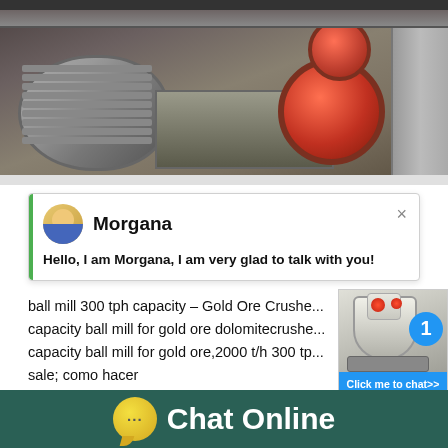[Figure (photo): Industrial machinery photo showing a large electric motor on the left and red cylindrical components in the background, inside a factory/mill setting]
[Figure (screenshot): Live chat widget with avatar of 'Morgana' and message: Hello, I am Morgana, I am very glad to talk with you! with a green sidebar bar and X close button]
ball mill 300 tph capacity – Gold Ore Crushe... capacity ball mill for gold ore dolomitecrushe... capacity ball mill for gold ore,2000 t/h 300 tp... sale; como hacer
[Figure (photo): Small image of an industrial crusher/cone crusher machine with a circular blue badge showing the number 1 and a blue 'Click me to chat>>' button below]
Chat Online